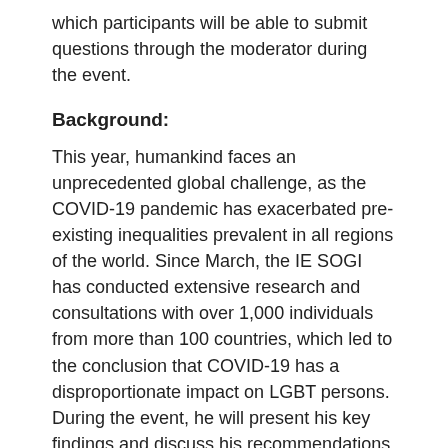which participants will be able to submit questions through the moderator during the event.
Background:
This year, humankind faces an unprecedented global challenge, as the COVID-19 pandemic has exacerbated pre-existing inequalities prevalent in all regions of the world. Since March, the IE SOGI has conducted extensive research and consultations with over 1,000 individuals from more than 100 countries, which led to the conclusion that COVID-19 has a disproportionate impact on LGBT persons. During the event, he will present his key findings and discuss his recommendations to ensure that response and recovery from the pandemic adequately address the needs of LGBT persons, as we all aspire to build a better world.
You can download a summary of the report and the full report at the linked text below: